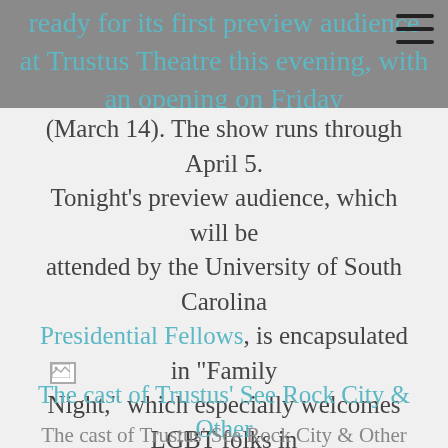ready for its first preview audience at Trustus Theatre this evening, with an opening on Friday
(March 14). The show runs through April 5. Tonight’s preview audience, which will be attended by the University of South Carolina Presidential Fellows, is encapsulated in “Family Night,” which especially welcomes LGBT folks in the area. Thursday’s audience is a Dining With Friends fundraiser, which still has tickets available.
[Figure (photo): Broken image icon placeholder for cast photo of Trustus' See Rock City & Other Destinations]
The cast of Trustus' See Rock City & Other Destinations. Photo: Jonathan Sharpe.
The cast of Trustus' See Rock City & Other